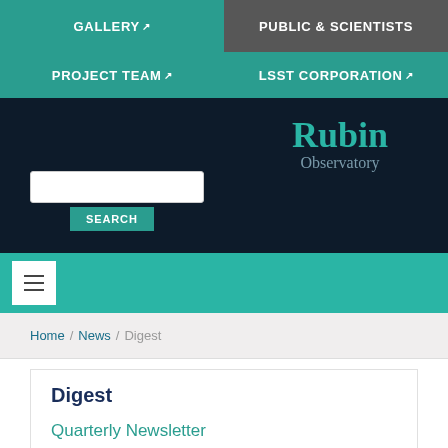GALLERY | PUBLIC & SCIENTISTS | PROJECT TEAM | LSST CORPORATION
[Figure (logo): Rubin Observatory logo/wordmark with teal 'Rubin' text and grey 'Observatory' subtitle on dark navy background]
Search input and SEARCH button
Navigation menu toggle button (hamburger icon)
Home / News / Digest breadcrumb
Digest
Quarterly Newsletter
Monthly Updates
Back to Top